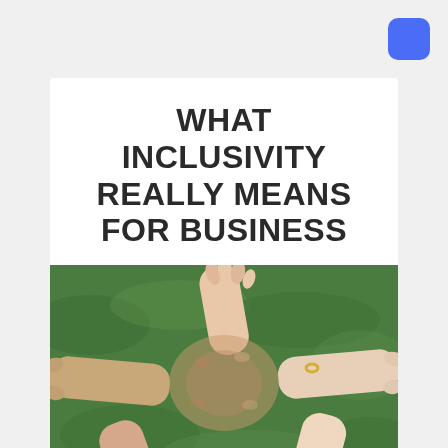[Figure (other): Blue rounded square button in top-right corner]
WHAT INCLUSIVITY REALLY MEANS FOR BUSINESS
[Figure (photo): Multiple hands of diverse people gripping each other's wrists in a circle, forming a chain, over a green grass background symbolizing teamwork and inclusivity]